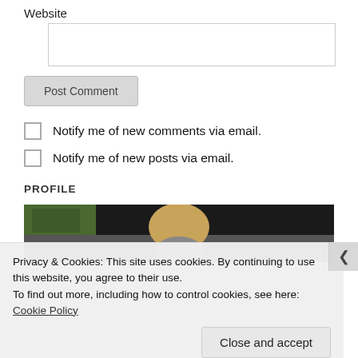Website
Post Comment
Notify me of new comments via email.
Notify me of new posts via email.
PROFILE
[Figure (photo): Outdoor photo showing a person with blonde hair from behind, with greenery and dark background]
Privacy & Cookies: This site uses cookies. By continuing to use this website, you agree to their use.
To find out more, including how to control cookies, see here: Cookie Policy
Close and accept